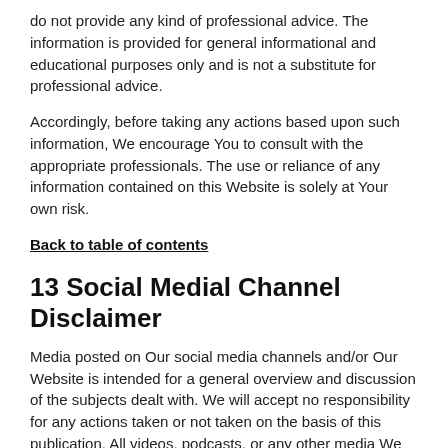do not provide any kind of professional advice. The information is provided for general informational and educational purposes only and is not a substitute for professional advice.
Accordingly, before taking any actions based upon such information, We encourage You to consult with the appropriate professionals. The use or reliance of any information contained on this Website is solely at Your own risk.
Back to table of contents
13 Social Medial Channel Disclaimer
Media posted on Our social media channels and/or Our Website is intended for a general overview and discussion of the subjects dealt with. We will accept no responsibility for any actions taken or not taken on the basis of this publication. All videos, podcasts, or any other media We publish remain Our copyright and all rights are reserved.
Back to table of contents